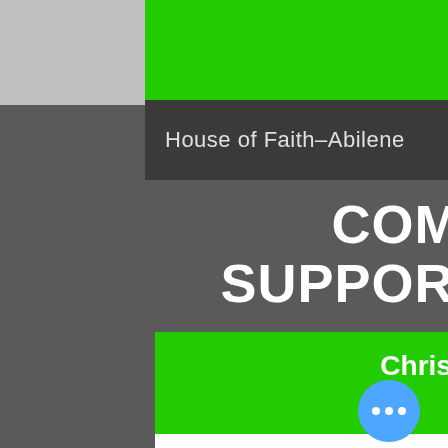Give
House of Faith-Abilene
COMMUNITY SUPPORT SERVICES
Christian Services Center
The Christian Service Center shares Christ love by providing basic needs and developmental opportunities to those living the Abilene and the surrounding area.